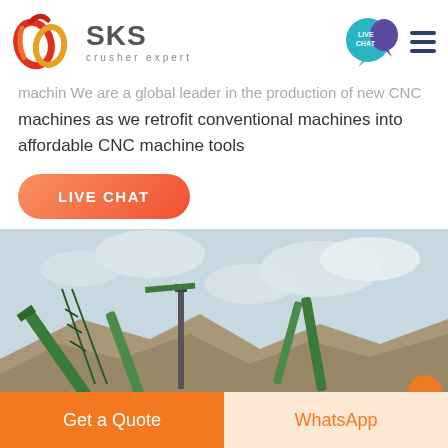[Figure (logo): SKS Crusher Expert logo with stylized red/orange interlinked rings and grey SKS text with 'crusher expert' tagline]
machin We are a global leader in the production of new CNC machines as we retrofit conventional machines into affordable CNC machine tools
LIVE CHAT
[Figure (photo): Industrial crusher/mining machinery with green conveyor belts and equipment against a cloudy sky]
Get a Quote
WhatsApp